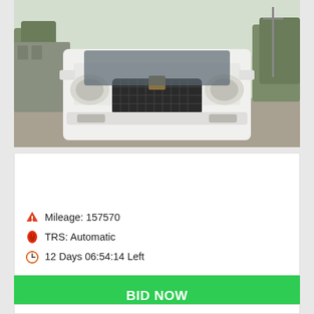[Figure (photo): Front view of a white 2004 Cadillac Escalade EXT SUV parked on a paved lot with trees and a building visible in the background.]
2004 Cadillac ESCALADE EXT
$7,250
Mileage: 157570
TRS: Automatic
12 Days 06:54:14 Left
BID NOW